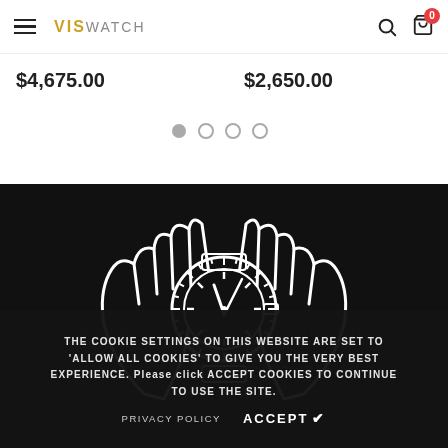VISwatch
$4,675.00
$2,650.00
[Figure (illustration): White line-art illustration of two hands holding a luxury watch, on a black background. The watch has a round bezel with tick marks and clock hands.]
The cookie settings on this website are set to 'allow all cookies' to give you the very best experience. Please click Accept Cookies to continue to use the site.
PRIVACY POLICY   ACCEPT ✔